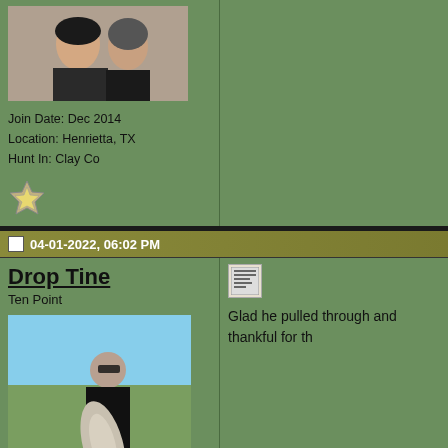[Figure (photo): Profile photo of a man and woman smiling together outdoors at dusk]
Join Date: Dec 2014
Location: Henrietta, TX
Hunt In: Clay Co
[Figure (logo): Small arrowhead/badge icon]
04-01-2022, 06:02 PM
Drop Tine
Ten Point
[Figure (photo): Man in black shirt holding a large fish on a boat]
Join Date: Jun 2013
Location: Montgomery, TX
[Figure (logo): Quote icon]
Glad he pulled through and thankful for th